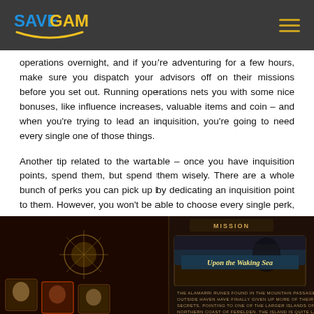SAVEGAME [logo with hamburger menu]
operations overnight, and if you're adventuring for a few hours, make sure you dispatch your advisors off on their missions before you set out. Running operations nets you with some nice bonuses, like influence increases, valuable items and coin – and when you're trying to lead an inquisition, you're going to need every single one of those things.
Another tip related to the wartable – once you have inquisition points, spend them, but spend them wisely. There are a whole bunch of perks you can pick up by dedicating an inquisition point to them. However, you won't be able to choose every single perk, so you must decide which perks work best for your play style. Take some time reading each perk to understand what it offers, and consider which perks work well together.
[Figure (screenshot): Dragon Age Inquisition game screenshot showing the Mission table interface with 'Upon the Waking Sea' mission card visible, featuring character portraits and mission description text about Alamarri runes found in mountain passages outside Haven.]